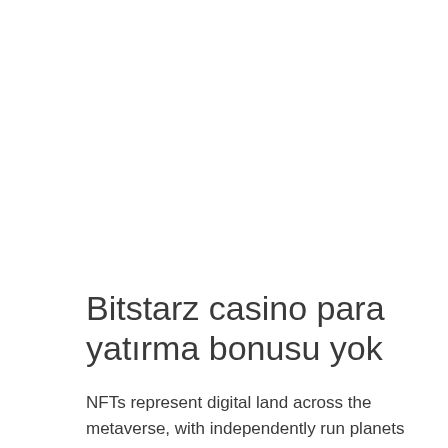Bitstarz casino para yatırma bonusu yok
NFTs represent digital land across the metaverse, with independently run planets having the option to produce their own NFTs and decide how it wants to operate. The Planets are competing with each other for